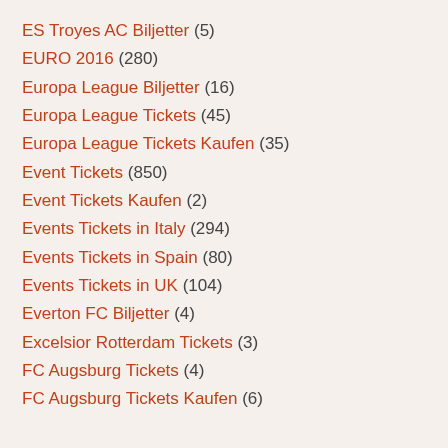ES Troyes AC Biljetter (5)
EURO 2016 (280)
Europa League Biljetter (16)
Europa League Tickets (45)
Europa League Tickets Kaufen (35)
Event Tickets (850)
Event Tickets Kaufen (2)
Events Tickets in Italy (294)
Events Tickets in Spain (80)
Events Tickets in UK (104)
Everton FC Biljetter (4)
Excelsior Rotterdam Tickets (3)
FC Augsburg Tickets (4)
FC Augsburg Tickets Kaufen (6)